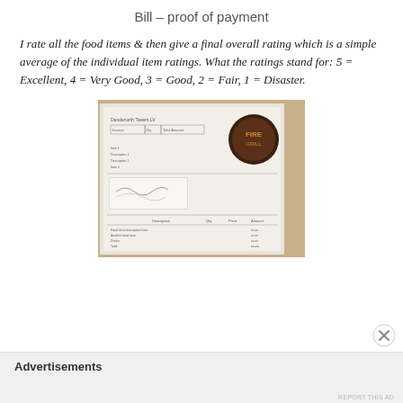Bill – proof of payment
I rate all the food items & then give a final overall rating which is a simple average of the individual item ratings. What the ratings stand for: 5 = Excellent, 4 = Very Good, 3 = Good, 2 = Fair, 1 = Disaster.
[Figure (photo): A photograph of a restaurant bill/receipt with a logo stamp on it, placed on a wooden surface.]
Advertisements